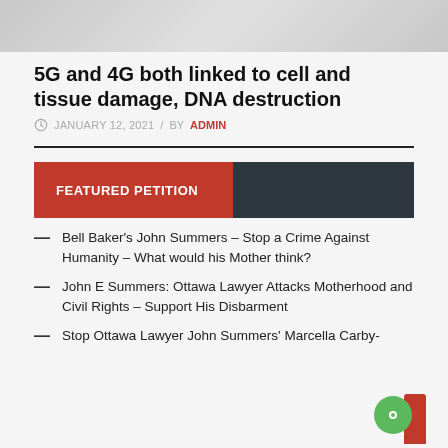[Figure (photo): Decorative header image, light gray/white gradient background with faint snowflake or similar pattern]
5G and 4G both linked to cell and tissue damage, DNA destruction
JANUARY 12, 2021 / BY ADMIN
FEATURED PETITION
Bell Baker's John Summers – Stop a Crime Against Humanity – What would his Mother think?
John E Summers: Ottawa Lawyer Attacks Motherhood and Civil Rights – Support His Disbarment
Stop Ottawa Lawyer John Summers' Marcella Carby-